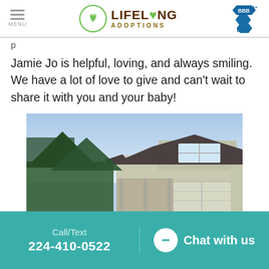LIFELONG ADOPTIONS
Jamie Jo is helpful, loving, and always smiling. We have a lot of love to give and can't wait to share it with you and your baby!
[Figure (photo): Exterior photo of a two-story house with gray-green siding, dark roof, white windows, a garage on the right, and trees on the left. Blue sky in the background, taken at dusk.]
Call/Text 224-410-0522  Chat with us